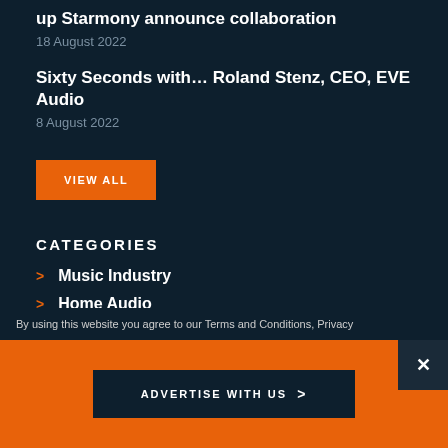up Starmony announce collaboration
18 August 2022
Sixty Seconds with... Roland Stenz, CEO, EVE Audio
8 August 2022
VIEW ALL
CATEGORIES
Music Industry
Home Audio
Gear Pioneers
Deep Cuts
By using this website you agree to our Terms and Conditions, Privacy
ADVERTISE WITH US >